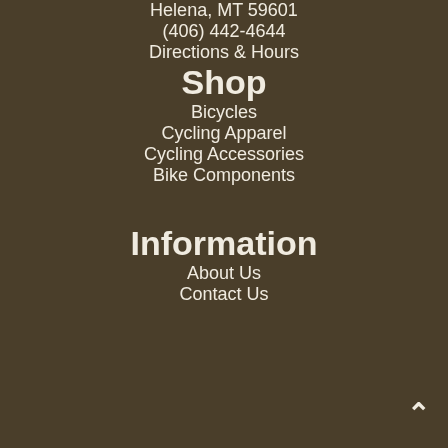Helena, MT 59601
(406) 442-4644
Directions & Hours
Shop
Bicycles
Cycling Apparel
Cycling Accessories
Bike Components
Information
About Us
Contact Us